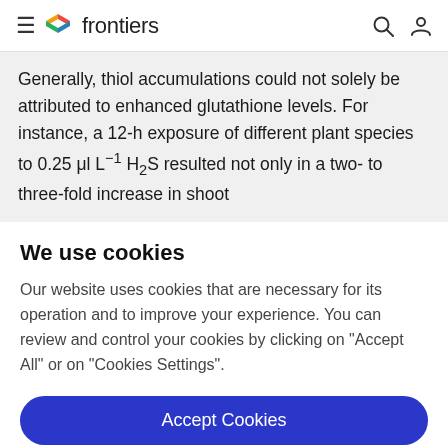frontiers
Generally, thiol accumulations could not solely be attributed to enhanced glutathione levels. For instance, a 12-h exposure of different plant species to 0.25 μl L⁻¹ H₂S resulted not only in a two- to three-fold increase in shoot
We use cookies
Our website uses cookies that are necessary for its operation and to improve your experience. You can review and control your cookies by clicking on "Accept All" or on "Cookies Settings".
Accept Cookies
Cookies Settings